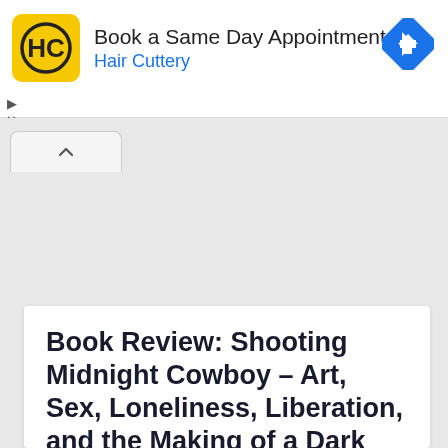[Figure (screenshot): Hair Cuttery advertisement banner with yellow HC logo, text 'Book a Same Day Appointment' and 'Hair Cuttery' in blue, and a blue navigation/direction icon on the right. Play and X controls visible on the left below.]
Book Review: Shooting Midnight Cowboy – Art, Sex, Loneliness, Liberation, and the Making of a Dark Classic by Glenn Frankel ★★★